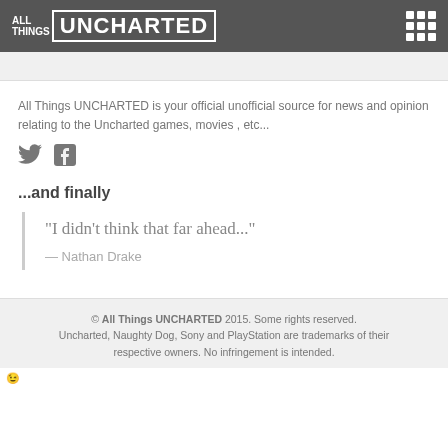ALL THINGS UNCHARTED
All Things UNCHARTED is your official unofficial source for news and opinion relating to the Uncharted games, movies , etc...
[Figure (illustration): Twitter bird icon and Facebook icon in grey]
...and finally
"I didn't think that far ahead..." — Nathan Drake
© All Things UNCHARTED 2015. Some rights reserved. Uncharted, Naughty Dog, Sony and PlayStation are trademarks of their respective owners. No infringement is intended.